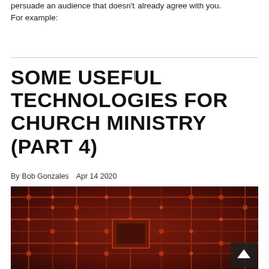persuade an audience that doesn't already agree with you. For example:
SOME USEFUL TECHNOLOGIES FOR CHURCH MINISTRY (PART 4)
By Bob Gonzales   Apr 14 2020
[Figure (photo): Close-up photograph of a red/dark circuit board with copper traces, solder points, and electronic components visible. A small dark back-to-top arrow button is overlaid in the bottom-right corner of the image.]